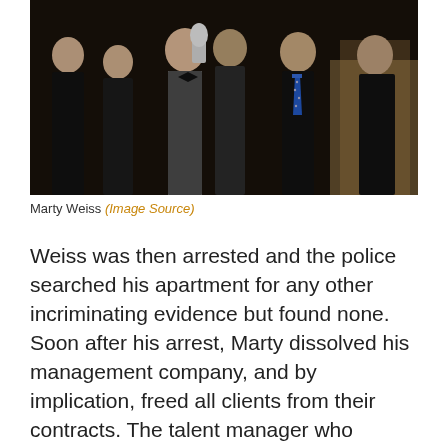[Figure (photo): Group photo of several people in formal attire at what appears to be an event. A man in the center wearing a black vest and bow tie holds an award.]
Marty Weiss (Image Source)
Weiss was then arrested and the police searched his apartment for any other incriminating evidence but found none. Soon after his arrest, Marty dissolved his management company, and by implication, freed all clients from their contracts. The talent manager who pleaded not guilty to eight counts of lewd acts with a child and sodomy was later sentenced to a year in jail and five years probation, forced to register as a sex offender, and required to go into treatment